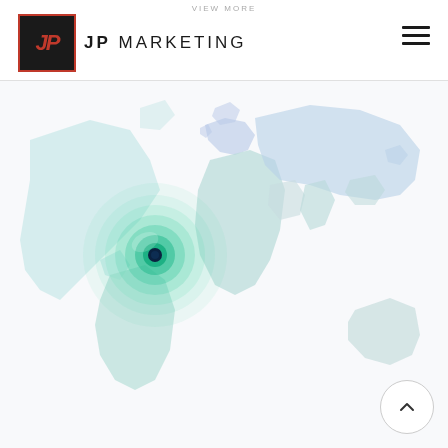VIEW MORE | JP MARKETING
[Figure (map): World map illustration with a glowing green circular highlight centered on the Americas/Atlantic region, rendered in soft teal and light blue tones]
[Figure (other): Scroll-to-top button: white circle with upward chevron arrow]